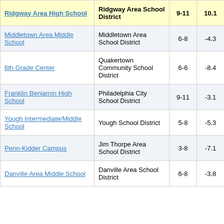| School | District | Grades | Score |
| --- | --- | --- | --- |
| Ridgway Area High School | Ridgway Area School District | 9-11 | 10.1 |
| Middletown Area Middle School | Middletown Area School District | 6-8 | -4.3 |
| 6th Grade Center | Quakertown Community School District | 6-6 | -8.4 |
| Franklin Benjamin High School | Philadelphia City School District | 9-11 | -3.1 |
| Yough Intermediate/Middle School | Yough School District | 5-8 | -5.3 |
| Penn-Kidder Campus | Jim Thorpe Area School District | 3-8 | -7.1 |
| Danville Area Middle School | Danville Area School District | 6-8 | -3.8 |